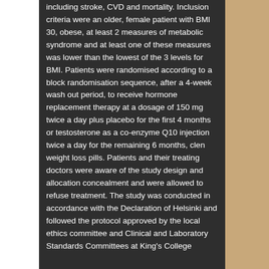including stroke, CVD and mortality. Inclusion criteria were an older, female patient with BMI 30, obese, at least 2 measures of metabolic syndrome and at least one of these measures was lower than the lowest of the 3 levels for BMI. Patients were randomised according to a block randomisation sequence, after a 4-week wash out period, to receive hormone replacement therapy at a dosage of 150 mg twice a day plus placebo for the first 4 months or testosterone as a co-enzyme Q10 injection twice a day for the remaining 6 months, clen weight loss pills. Patients and their treating doctors were aware of the study design and allocation concealment and were allowed to refuse treatment. The study was conducted in accordance with the Declaration of Helsinki and followed the protocol approved by the local ethics committee and Clinical and Laboratory Standards Committees at King's College